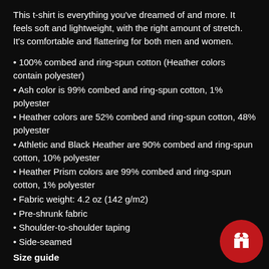This t-shirt is everything you've dreamed of and more. It feels soft and lightweight, with the right amount of stretch. It's comfortable and flattering for both men and women.
100% combed and ring-spun cotton (Heather colors contain polyester)
Ash color is 99% combed and ring-spun cotton, 1% polyester
Heather colors are 52% combed and ring-spun cotton, 48% polyester
Athletic and Black Heather are 90% combed and ring-spun cotton, 10% polyester
Heather Prism colors are 99% combed and ring-spun cotton, 1% polyester
Fabric weight: 4.2 oz (142 g/m2)
Pre-shrunk fabric
Shoulder-to-shoulder taping
Side-seamed
Size guide